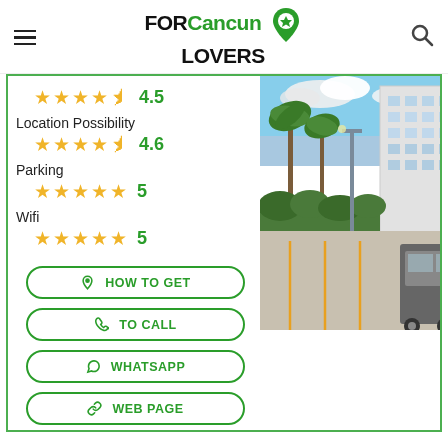FOR Cancun LOVERS
Location Possibility
[Figure (other): Star rating 4.5 out of 5]
Location Possibility  4.6
Parking  5
Wifi  5
[Figure (photo): Outdoor photo of a parking lot area with palm trees and a white multi-story building in Cancun, Mexico]
HOW TO GET
TO CALL
WHATSAPP
WEB PAGE